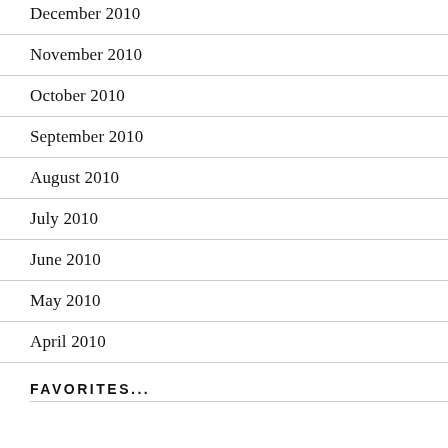December 2010
November 2010
October 2010
September 2010
August 2010
July 2010
June 2010
May 2010
April 2010
FAVORITES...